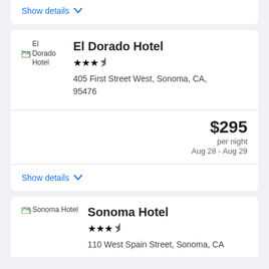Show details ∨
El Dorado Hotel
405 First Street West, Sonoma, CA, 95476
$295 per night Aug 28 - Aug 29
Show details ∨
Sonoma Hotel
110 West Spain Street, Sonoma, CA